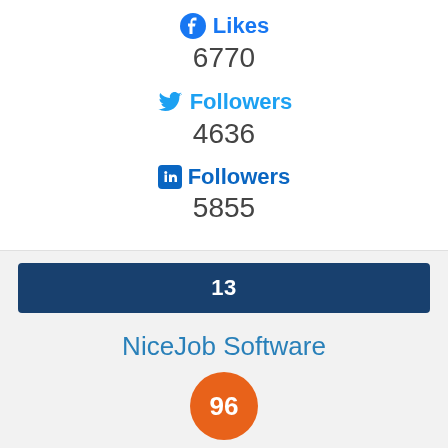Facebook Likes
6770
Twitter Followers
4636
LinkedIn Followers
5855
13
NiceJob Software
[Figure (infographic): Orange circle with number 96]
Capterra
5